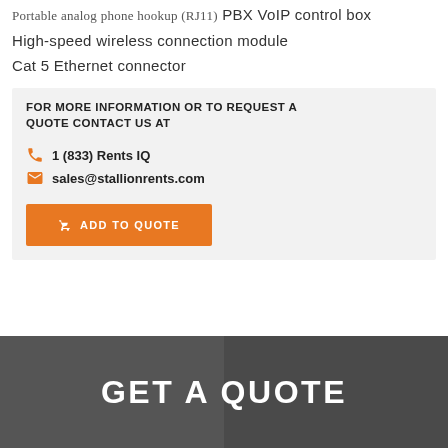Portable analog phone hookup (RJ11)
PBX VoIP control box
High-speed wireless connection module
Cat 5 Ethernet connector
FOR MORE INFORMATION OR TO REQUEST A QUOTE CONTACT US AT
1 (833) Rents IQ
sales@stallionrents.com
ADD TO QUOTE
GET A QUOTE